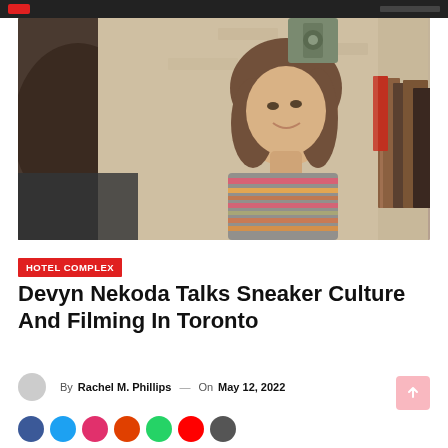[Figure (photo): Young woman with shoulder-length brown hair wearing a colorful striped sweater, looking up and smiling, in a warmly lit indoor setting with books visible in background]
HOTEL COMPLEX
Devyn Nekoda Talks Sneaker Culture And Filming In Toronto
By Rachel M. Phillips — On May 12, 2022